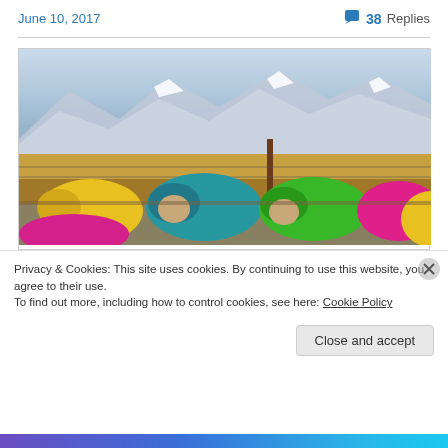June 10, 2017   💬 38 Replies
[Figure (photo): Colorful dyed sheep (yellow, magenta, teal, green, pink) in a pen with a barbed wire fence and snow-capped mountains in the background.]
Privacy & Cookies: This site uses cookies. By continuing to use this website, you agree to their use.
To find out more, including how to control cookies, see here: Cookie Policy
Close and accept